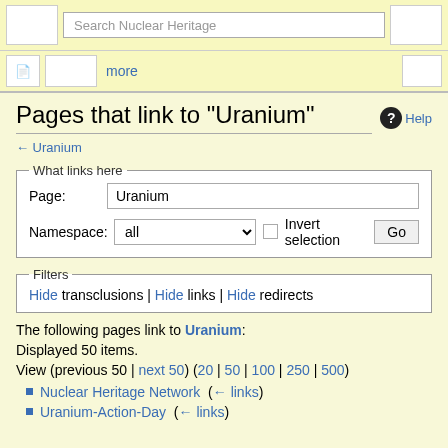Search Nuclear Heritage
Pages that link to "Uranium"
← Uranium
What links here — Page: Uranium | Namespace: all | Invert selection | Go
Filters — Hide transclusions | Hide links | Hide redirects
The following pages link to Uranium:
Displayed 50 items.
View (previous 50 | next 50) (20 | 50 | 100 | 250 | 500)
Nuclear Heritage Network  (← links)
Uranium-Action-Day  (← links)